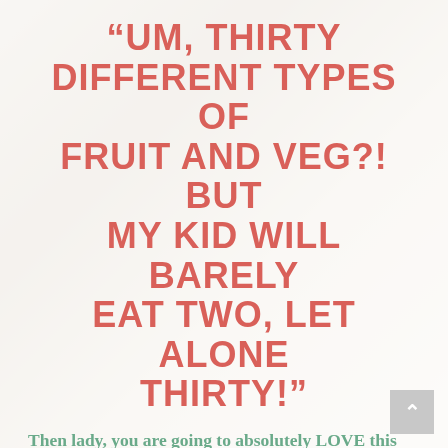“UM, THIRTY DIFFERENT TYPES OF FRUIT AND VEG?! BUT MY KID WILL BARELY EAT TWO, LET ALONE THIRTY!”
Then lady, you are going to absolutely LOVE this free challenge.
I know how frustrating it can be when your child only eats the same few foods, and refuses to try anything new...
I know how guilty it can make you feel when you have to resort to toast or cereal or